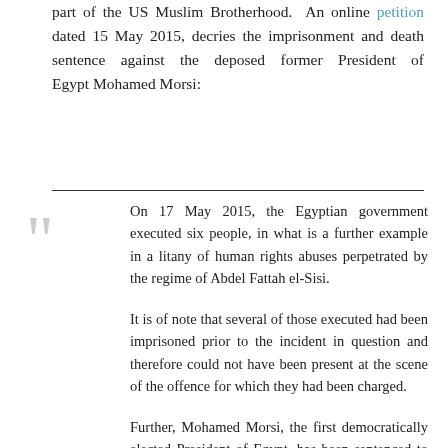part of the US Muslim Brotherhood. An online petition dated 15 May 2015, decries the imprisonment and death sentence against the deposed former President of Egypt Mohamed Morsi:
On 17 May 2015, the Egyptian government executed six people, in what is a further example in a litany of human rights abuses perpetrated by the regime of Abdel Fattah el-Sisi.
It is of note that several of those executed had been imprisoned prior to the incident in question and therefore could not have been present at the scene of the offence for which they had been charged.
Further, Mohamed Morsi, the first democratically elected President of Egypt, has been sentenced to death by the Egyptian courts following a trial that cannot be described as anything other than a farce.
We, as individuals and organizations committed to human rights and democracy, communicate this